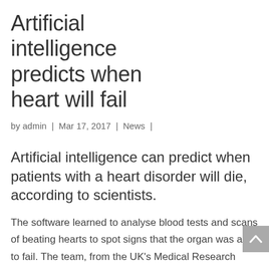Artificial intelligence predicts when heart will fail
by admin | Mar 17, 2017 | News |
Artificial intelligence can predict when patients with a heart disorder will die, according to scientists.
The software learned to analyse blood tests and scans of beating hearts to spot signs that the organ was about to fail. The team, from the UK's Medical Research Council, say the technology could save lives by finding patients that need more